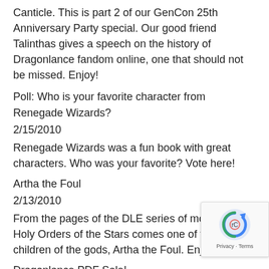Canticle. This is part 2 of our GenCon 25th Anniversary Party special. Our good friend Talinthas gives a speech on the history of Dragonlance fandom online, one that should not be missed. Enjoy!
Poll: Who is your favorite character from Renegade Wizards?
2/15/2010
Renegade Wizards was a fun book with great characters. Who was your favorite? Vote here!
Artha the Foul
2/13/2010
From the pages of the DLE series of modules and Holy Orders of the Stars comes one of the children of the gods, Artha the Foul. Enjoy!
Dragonlance PDF Sale!
2/12/2010